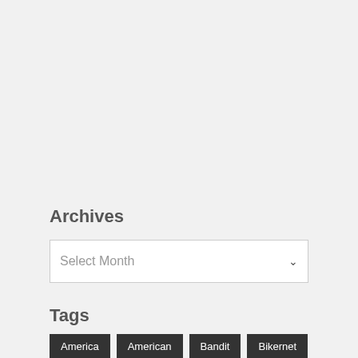Archives
Select Month
Tags
America
American
Bandit
Bikernet